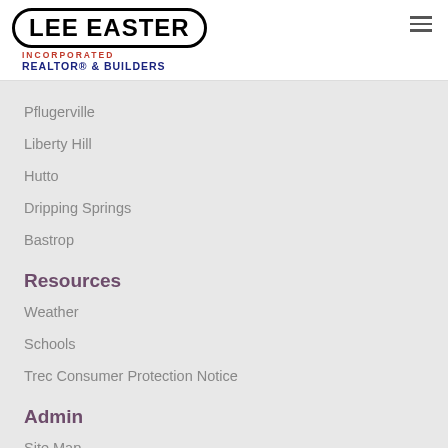[Figure (logo): Lee Easter Incorporated Realtor & Builders logo with oval border]
Pflugerville
Liberty Hill
Hutto
Dripping Springs
Bastrop
Resources
Weather
Schools
Trec Consumer Protection Notice
Admin
Site Map
Login
Contact Us